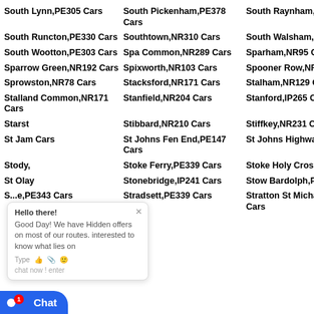South Lynn,PE305 Cars
South Pickenham,PE378 Cars
South Raynham,NR217 Cars
So...
South Runcton,PE330 Cars
Southtown,NR310 Cars
South Walsham,NR136 Cars
So...
South Wootton,PE303 Cars
Spa Common,NR289 Cars
Sparham,NR95 Cars
Sp...
Sparrow Green,NR192 Cars
Spixworth,NR103 Cars
Spooner Row,NR189 Cars
Sp...
Sprowston,NR78 Cars
Stacksford,NR171 Cars
Stalham,NR129 Cars
St... Ca...
Stalland Common,NR171 Cars
Stanfield,NR204 Cars
Stanford,IP265 Cars
St...
Starst...
Stibbard,NR210 Cars
Stiffkey,NR231 Cars
St...
St Jam... Cars
St Johns Fen End,PE147 Cars
St Johns Highway,PE147 Cars
St...
Stody,...
Stoke Ferry,PE339 Cars
Stoke Holy Cross,NR148 Cars
St...
St Olay...
Stonebridge,IP241 Cars
Stow Bardolph,PE343 Cars
St...
S... ...e,PE343 Cars
Stradsett,PE339 Cars
Stratton St Michael,NR152 Cars
St... Ca...